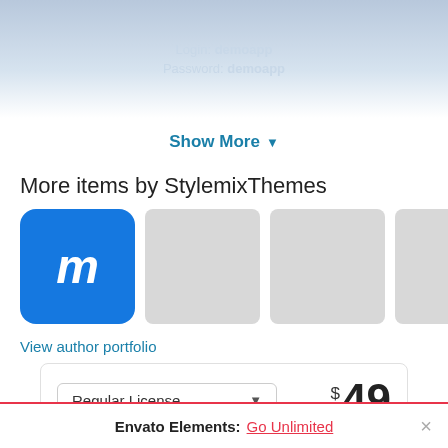[Figure (screenshot): App screenshot preview banner with login/password overlay text showing 'Login: demoapp' and 'Password: demoapp']
Show More ▾
More items by StylemixThemes
[Figure (screenshot): Row of product thumbnail images: first is a blue rounded square with italic bold 'm' logo, followed by four gray placeholder squares]
View author portfolio
Regular License  $49
Use  by you or one client  in a single end product which end users
Envato Elements: Go Unlimited ×